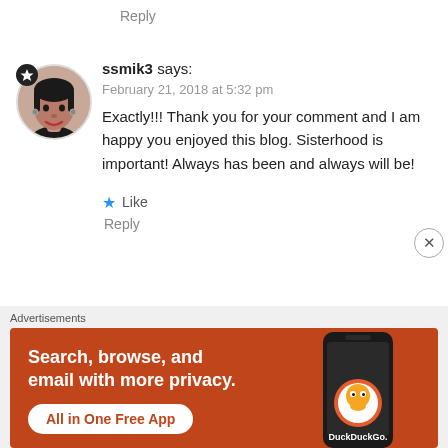Reply
ssmik3 says:
February 21, 2018 at 5:32 pm
Exactly!!! Thank you for your comment and I am happy you enjoyed this blog. Sisterhood is important! Always has been and always will be!
Like
Reply
[Figure (photo): Avatar photo of user ssmik3, a circular profile image of a person, with a dark star badge in the top-left corner]
Advertisements
[Figure (screenshot): DuckDuckGo advertisement banner with orange background. Text: Search, browse, and email with more privacy. All in One Free App. Shows a smartphone with DuckDuckGo logo.]